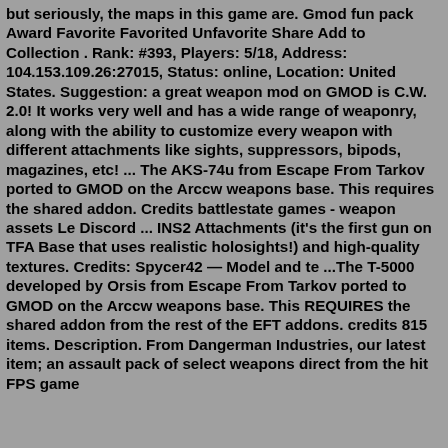but seriously, the maps in this game are. Gmod fun pack Award Favorite Favorited Unfavorite Share Add to Collection . Rank: #393, Players: 5/18, Address: 104.153.109.26:27015, Status: online, Location: United States. Suggestion: a great weapon mod on GMOD is C.W. 2.0! It works very well and has a wide range of weaponry, along with the ability to customize every weapon with different attachments like sights, suppressors, bipods, magazines, etc! ... The AKS-74u from Escape From Tarkov ported to GMOD on the Arccw weapons base. This requires the shared addon. Credits battlestate games - weapon assets Le Discord ... INS2 Attachments (it's the first gun on TFA Base that uses realistic holosights!) and high-quality textures. Credits: Spycer42 — Model and te ...The T-5000 developed by Orsis from Escape From Tarkov ported to GMOD on the Arccw weapons base. This REQUIRES the shared addon from the rest of the EFT addons. credits 815 items. Description. From Dangerman Industries, our latest item; an assault pack of select weapons direct from the hit FPS game